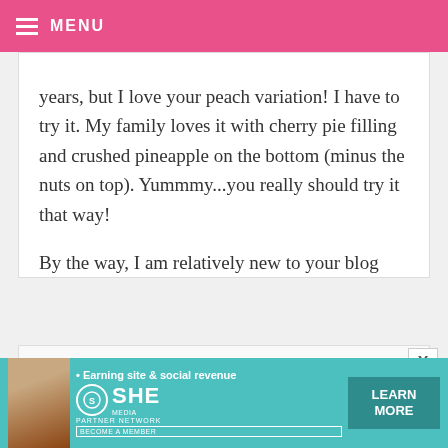≡ MENU
years, but I love your peach variation! I have to try it. My family loves it with cherry pie filling and crushed pineapple on the bottom (minus the nuts on top). Yummmy...you really should try it that way!

By the way, I am relatively new to your blog and I LOVE IT!!! Thanks a bunch. :0)
[Figure (photo): Partial view of a second comment with a circular avatar photo visible at the bottom left, and an X close button at the top right]
[Figure (infographic): SHE Media partner network advertisement banner with teal background, woman photo, bullet point 'Earning site & social revenue', SHE logo, PARTNER NETWORK, BECOME A MEMBER text, and LEARN MORE button]